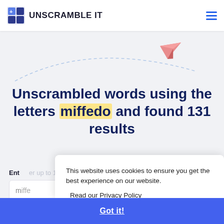UNSCRAMBLE IT
[Figure (illustration): Pink paper airplane with dashed curved trail on light grey background]
Unscrambled words using the letters miffedo and found 131 results
Enter up to 15 letters
miffe...
ADVANCE FILTERS ×
This website uses cookies to ensure you get the best experience on our website. Read our Privacy Policy
Got it!